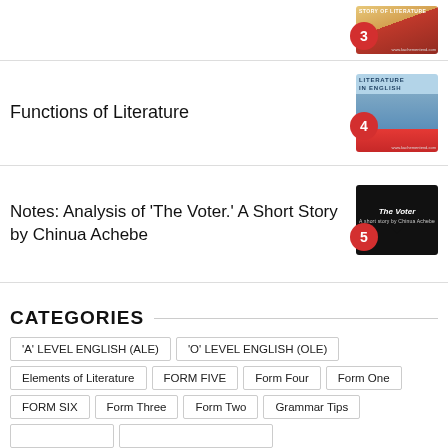[Figure (photo): Stack of literature books with badge number 3]
Functions of Literature
[Figure (photo): Literature in English book stack with badge number 4]
Notes: Analysis of 'The Voter.' A Short Story by Chinua Achebe
[Figure (photo): The Voter short story book cover with badge number 5]
CATEGORIES
'A' LEVEL ENGLISH (ALE)
'O' LEVEL ENGLISH (OLE)
Elements of Literature
FORM FIVE
Form Four
Form One
FORM SIX
Form Three
Form Two
Grammar Tips